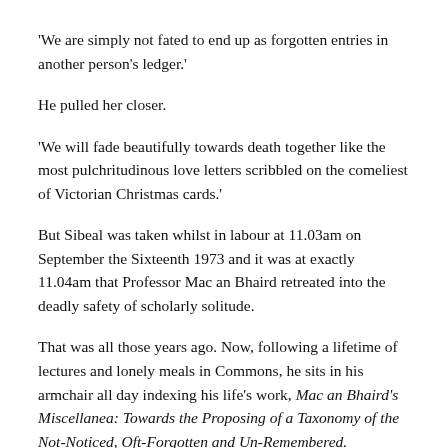'We are simply not fated to end up as forgotten entries in another person's ledger.'
He pulled her closer.
'We will fade beautifully towards death together like the most pulchritudinous love letters scribbled on the comeliest of Victorian Christmas cards.'
But Sibeal was taken whilst in labour at 11.03am on September the Sixteenth 1973 and it was at exactly 11.04am that Professor Mac an Bhaird retreated into the deadly safety of scholarly solitude.
That was all those years ago. Now, following a lifetime of lectures and lonely meals in Commons, he sits in his armchair all day indexing his life's work, Mac an Bhaird's Miscellanea: Towards the Proposing of a Taxonomy of the Not-Noticed, Oft-Forgotten and Un-Remembered.